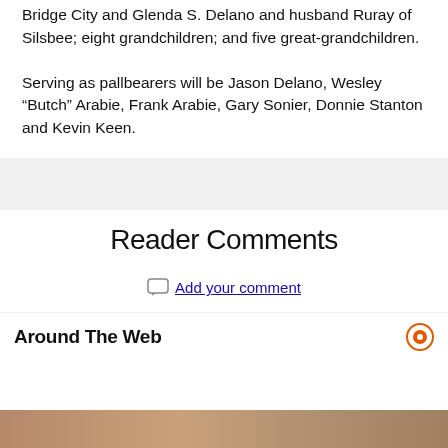Bridge City and Glenda S. Delano and husband Ruray of Silsbee; eight grandchildren; and five great-grandchildren.
Serving as pallbearers will be Jason Delano, Wesley “Butch” Arabie, Frank Arabie, Gary Sonier, Donnie Stanton and Kevin Keen.
Reader Comments
Add your comment
Around The Web